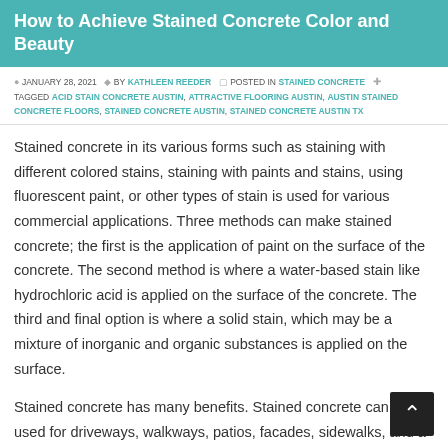How to Achieve Stained Concrete Color and Beauty
JANUARY 28, 2021  BY KATHLEEN REEDER  POSTED IN STAINED CONCRETE  TAGGED ACID STAIN CONCRETE AUSTIN, ATTRACTIVE FLOORING AUSTIN, AUSTIN STAINED CONCRETE FLOORS, STAINED CONCRETE AUSTIN, STAINED CONCRETE AUSTIN TX
Stained concrete in its various forms such as staining with different colored stains, staining with paints and stains, using fluorescent paint, or other types of stain is used for various commercial applications. Three methods can make stained concrete; the first is the application of paint on the surface of the concrete. The second method is where a water-based stain like hydrochloric acid is applied on the surface of the concrete. The third and final option is where a solid stain, which may be a mixture of inorganic and organic substances is applied on the surface.
Stained concrete has many benefits. Stained concrete can be used for driveways, walkways, patios, facades, sidewalks, and a